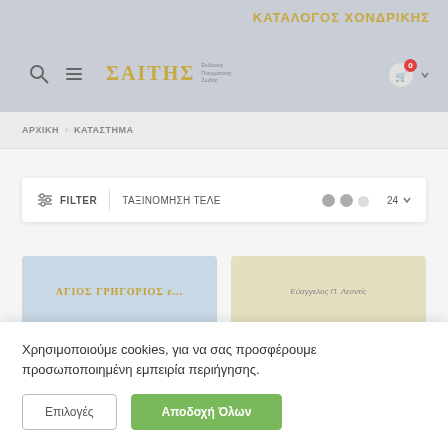ΚΑΤΑΛΟΓΟΣ ΧΟΝΔΡΙΚΗΣ
[Figure (screenshot): Website header with search icon, hamburger menu, logo (ΣΑΙΤΗΣ), and cart icon with badge showing 0]
ΑΡΧΙΚΗ > ΚΑΤΑΣΤΗΜΑ
FILTER   ΤΑΞΙΝΟΜΗΣΗ ΤΕΛΕ   24
[Figure (screenshot): Two product card thumbnails: left is blue with Greek text ΑΓΙΟΣ ΓΡΗΓΟΡΙΟΣ, right is yellow/cream with Greek text]
Χρησιμοποιούμε cookies, για να σας προσφέρουμε προσωποποιημένη εμπειρία περιήγησης.
Επιλογές
Αποδοχή Όλων